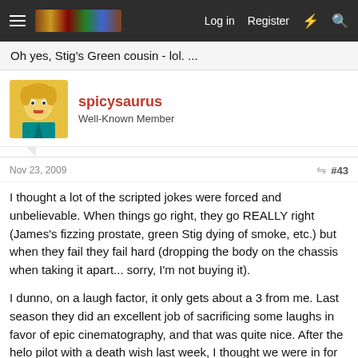Log in  Register
Oh yes, Stig's Green cousin - lol. ...
spicysaurus
Well-Known Member
Nov 23, 2009  #43
I thought a lot of the scripted jokes were forced and unbelievable. When things go right, they go REALLY right (James's fizzing prostate, green Stig dying of smoke, etc.) but when they fail they fail hard (dropping the body on the chassis when taking it apart... sorry, I'm not buying it).

I dunno, on a laugh factor, it only gets about a 3 from me. Last season they did an excellent job of sacrificing some laughs in favor of epic cinematography, and that was quite nice. After the helo pilot with a death wish last week, I thought we were in for more of that with this season, but this ep was a letdown.